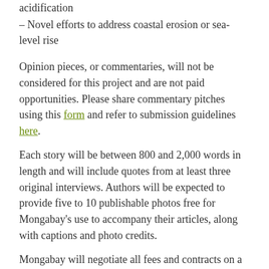acidification
– Novel efforts to address coastal erosion or sea-level rise
Opinion pieces, or commentaries, will not be considered for this project and are not paid opportunities. Please share commentary pitches using this form and refer to submission guidelines here.
Each story will be between 800 and 2,000 words in length and will include quotes from at least three original interviews. Authors will be expected to provide five to 10 publishable photos free for Mongabay's use to accompany their articles, along with captions and photo credits.
Mongabay will negotiate all fees and contracts on a per-story basis. Completed stories will be paid on a per word or fixed fee basis, with rates depending primarily on the journalist's experience.  Mongabay.com publishes under an open Creative Commons license that allows for sharing,